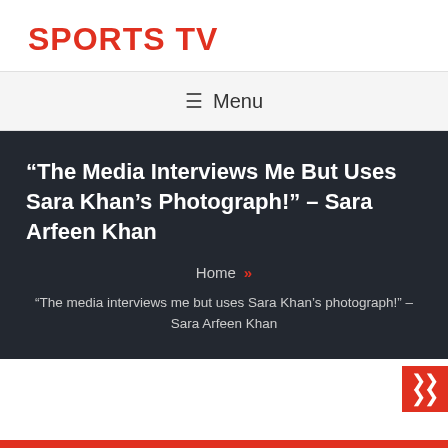SPORTS TV
☰ Menu
“The Media Interviews Me But Uses Sara Khan’s Photograph!” – Sara Arfeen Khan
Home »
“The media interviews me but uses Sara Khan’s photograph!” – Sara Arfeen Khan